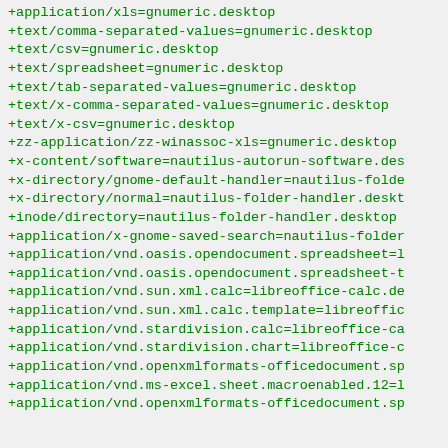+application/xls=gnumeric.desktop
+text/comma-separated-values=gnumeric.desktop
+text/csv=gnumeric.desktop
+text/spreadsheet=gnumeric.desktop
+text/tab-separated-values=gnumeric.desktop
+text/x-comma-separated-values=gnumeric.desktop
+text/x-csv=gnumeric.desktop
+zz-application/zz-winassoc-xls=gnumeric.desktop
+x-content/software=nautilus-autorun-software.des
+x-directory/gnome-default-handler=nautilus-folde
+x-directory/normal=nautilus-folder-handler.deskt
+inode/directory=nautilus-folder-handler.desktop
+application/x-gnome-saved-search=nautilus-folder
+application/vnd.oasis.opendocument.spreadsheet=l
+application/vnd.oasis.opendocument.spreadsheet-t
+application/vnd.sun.xml.calc=libreoffice-calc.de
+application/vnd.sun.xml.calc.template=libreoffic
+application/vnd.stardivision.calc=libreoffice-ca
+application/vnd.stardivision.chart=libreoffice-c
+application/vnd.openxmlformats-officedocument.sp
+application/vnd.ms-excel.sheet.macroenabled.12=l
+application/vnd.openxmlformats-officedocument.sp